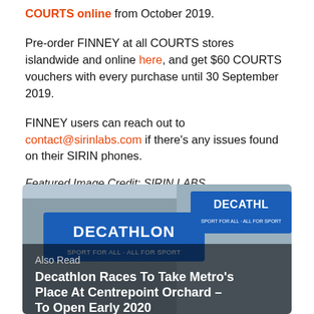COURTS online from October 2019.
Pre-order FINNEY at all COURTS stores islandwide and online here, and get $60 COURTS vouchers with every purchase until 30 September 2019.
FINNEY users can reach out to contact@sirinlabs.com if there's any issues found on their SIRIN phones.
Featured Image Credit: SIRIN LABS
[Figure (photo): Photo of Decathlon store exterior with blue signage reading DECATHLON SPORT FOR ALL - ALL FOR SPORT. Overlaid text reads 'Also Read' and 'Decathlon Races To Take Metro's Place At Centrepoint Orchard – To Open Early 2020']